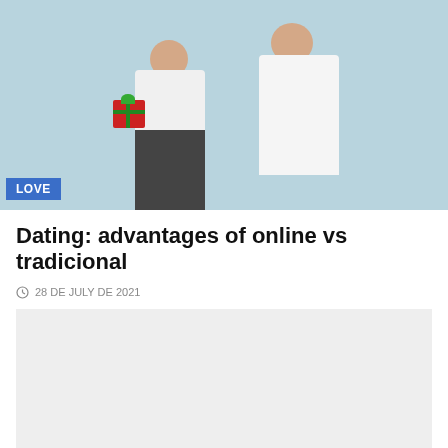[Figure (photo): Two people standing against a light blue background. The person on the left, wearing a white t-shirt and dark pants, holds a red gift box with green ribbon behind their back. The person on the right wears a white oversized shirt. A blue 'LOVE' badge is overlaid on the lower-left of the image.]
Dating: advantages of online vs tradicional
28 DE JULY DE 2021
[Figure (photo): Placeholder image area (light grey rectangle)]